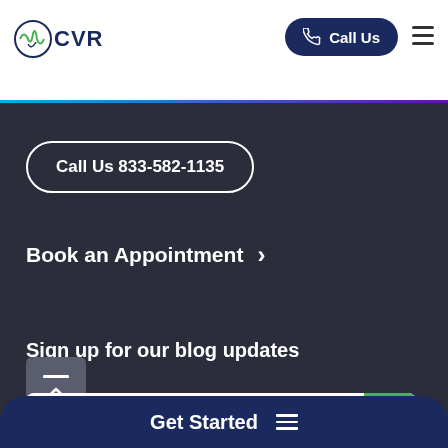[Figure (logo): CVR heart/EKG logo with text CVR]
Call Us
Call Us 833-582-1135
Book an Appointment >
Sign up for our blog updates
Get Started ≡